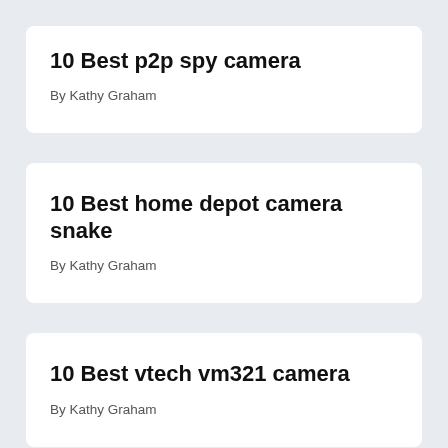10 Best p2p spy camera
By Kathy Graham
10 Best home depot camera snake
By Kathy Graham
10 Best vtech vm321 camera
By Kathy Graham